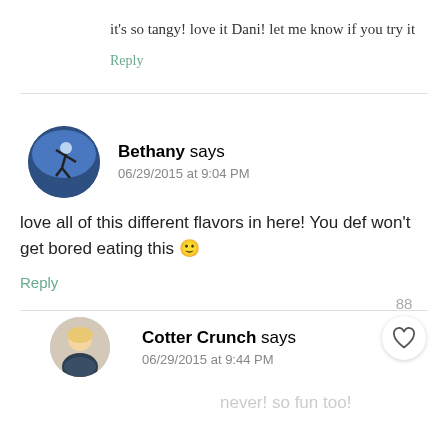it's so tangy! love it Dani! let me know if you try it
Reply
Bethany says
06/29/2015 at 9:04 PM
love all of this different flavors in here! You def won't get bored eating this 😊
Reply
88
[Figure (illustration): Heart/like button widget with count 88]
Cotter Crunch says
06/29/2015 at 9:44 PM
never! so fun too!